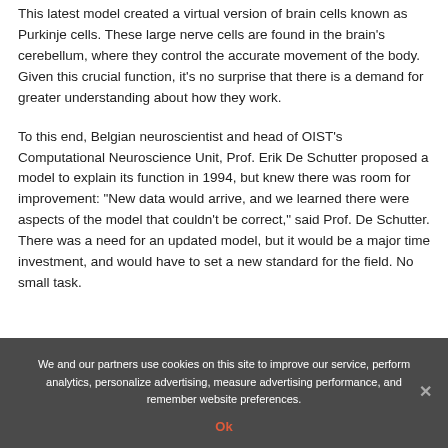This latest model created a virtual version of brain cells known as Purkinje cells. These large nerve cells are found in the brain's cerebellum, where they control the accurate movement of the body. Given this crucial function, it's no surprise that there is a demand for greater understanding about how they work.
To this end, Belgian neuroscientist and head of OIST's Computational Neuroscience Unit, Prof. Erik De Schutter proposed a model to explain its function in 1994, but knew there was room for improvement: "New data would arrive, and we learned there were aspects of the model that couldn't be correct," said Prof. De Schutter. There was a need for an updated model, but it would be a major time investment, and would have to set a new standard for the field. No small task.
We and our partners use cookies on this site to improve our service, perform analytics, personalize advertising, measure advertising performance, and remember website preferences.
Ok